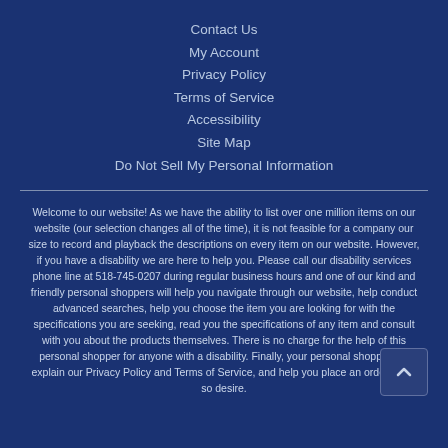Contact Us
My Account
Privacy Policy
Terms of Service
Accessibility
Site Map
Do Not Sell My Personal Information
Welcome to our website! As we have the ability to list over one million items on our website (our selection changes all of the time), it is not feasible for a company our size to record and playback the descriptions on every item on our website. However, if you have a disability we are here to help you. Please call our disability services phone line at 518-745-0207 during regular business hours and one of our kind and friendly personal shoppers will help you navigate through our website, help conduct advanced searches, help you choose the item you are looking for with the specifications you are seeking, read you the specifications of any item and consult with you about the products themselves. There is no charge for the help of this personal shopper for anyone with a disability. Finally, your personal shopper will explain our Privacy Policy and Terms of Service, and help you place an order if you so desire.